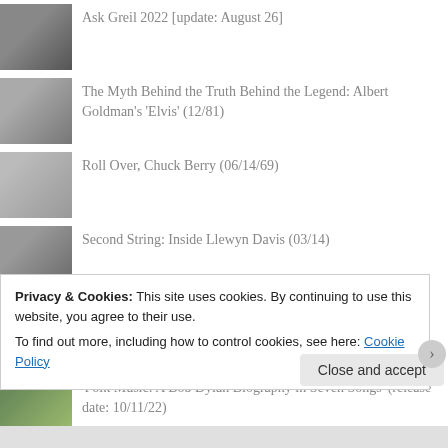Ask Greil 2022 [update: August 26]
The Myth Behind the Truth Behind the Legend: Albert Goldman's 'Elvis' (12/81)
Roll Over, Chuck Berry (06/14/69)
Second String: Inside Llewyn Davis (03/14)
Undercover: Making Nothing Out of Something (01/11/79)
'Folk Music: A Bob Dylan Biography in Seven Songs' (release date: 10/11/22)
Interviews
Privacy & Cookies: This site uses cookies. By continuing to use this website, you agree to their use.
To find out more, including how to control cookies, see here: Cookie Policy
Close and accept